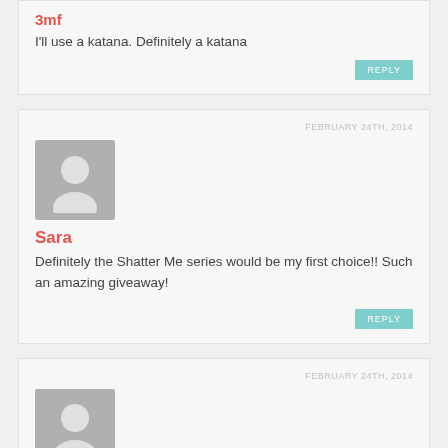3Mf
I'll use a katana. Definitely a katana
REPLY
FEBRUARY 24TH, 2014
[Figure (illustration): Default user avatar placeholder with silhouette]
Sara
Definitely the Shatter Me series would be my first choice!! Such an amazing giveaway!
REPLY
FEBRUARY 24TH, 2014
[Figure (illustration): Default user avatar placeholder with silhouette]
Michal
Mmmm maybe a claymore or a half-moon knives